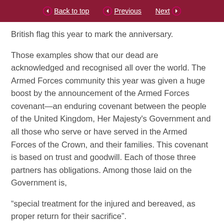Back to top | Previous | Next
British flag this year to mark the anniversary.
Those examples show that our dead are acknowledged and recognised all over the world. The Armed Forces community this year was given a huge boost by the announcement of the Armed Forces covenant—an enduring covenant between the people of the United Kingdom, Her Majesty's Government and all those who serve or have served in the Armed Forces of the Crown, and their families. This covenant is based on trust and goodwill. Each of those three partners has obligations. Among those laid on the Government is,
“special treatment for the injured and bereaved, as proper return for their sacrifice”.